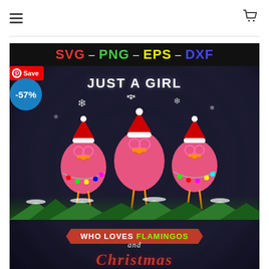Navigation header with hamburger menu and shopping cart icon
[Figure (screenshot): Product listing image for an SVG/PNG/EPS/DXF digital file showing a Christmas flamingo design. The image shows three pink flamingos wearing Santa hats with Christmas lights, over a dark background. Top banner reads 'SVG - PNG - EPS - DXF' in colorful text. Main text reads 'JUST A GIRL WHO LOVES FLAMINGOS and Christmas'. A red Pinterest Save badge and a blue -57% discount badge are overlaid on the image.]